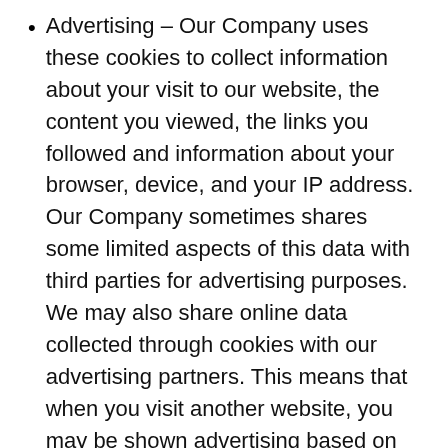Advertising – Our Company uses these cookies to collect information about your visit to our website, the content you viewed, the links you followed and information about your browser, device, and your IP address. Our Company sometimes shares some limited aspects of this data with third parties for advertising purposes. We may also share online data collected through cookies with our advertising partners. This means that when you visit another website, you may be shown advertising based on your browsing patterns on our website.
HOW TO MANAGE COOKIES
You can set your browser not to accept cookies, and the above website tells you how